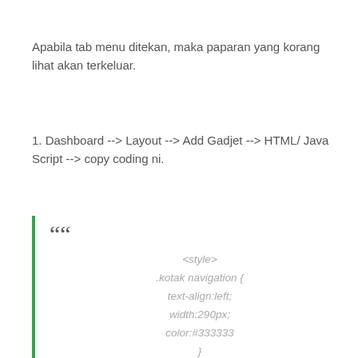Apabila tab menu ditekan, maka paparan yang korang lihat akan terkeluar.
1. Dashboard --> Layout --> Add Gadjet --> HTML/ Java Script --> copy coding ni.
““
<style>
.kotak navigation {
text-align:left;
width:290px;
color:#333333
}
a.navigation {
cursor:vertical-text;